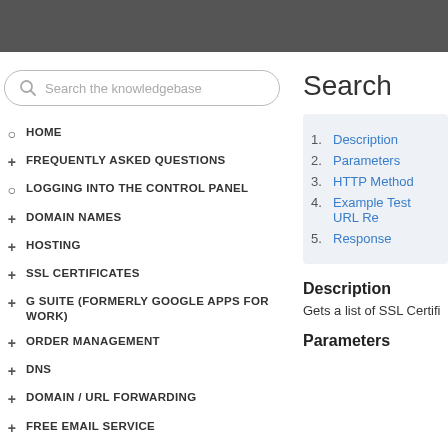[Figure (screenshot): Search the knowledgebase input box with search icon]
HOME
FREQUENTLY ASKED QUESTIONS
LOGGING INTO THE CONTROL PANEL
DOMAIN NAMES
HOSTING
SSL CERTIFICATES
G SUITE (FORMERLY GOOGLE APPS FOR WORK)
ORDER MANAGEMENT
DNS
DOMAIN / URL FORWARDING
FREE EMAIL SERVICE
Search
1. Description
2. Parameters
3. HTTP Method
4. Example Test URL Re
5. Response
Description
Gets a list of SSL Certifi
Parameters